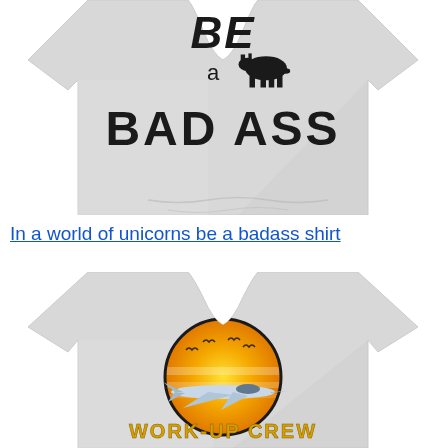[Figure (photo): White t-shirt with text 'BE a BAD ASS' and a donkey/moose animal graphic in black distressed font]
In a world of unicorns be a badass shirt
[Figure (photo): White t-shirt with a circular retro sunset graphic featuring a military jet fighter and birds, with text 'WORK-UP CREW' in gold letters]